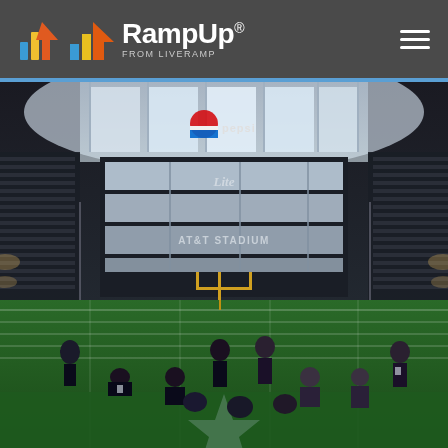[Figure (logo): RampUp from LiveRamp logo with arrow icon in orange, blue, and yellow on dark gray header bar]
[Figure (photo): Group of conference attendees posing on the field at AT&T Stadium (Dallas Cowboys stadium) with the interior stadium visible including Pepsi and Miller Lite signage, goal posts, and green turf. People are in football stance positions on the star logo at midfield.]